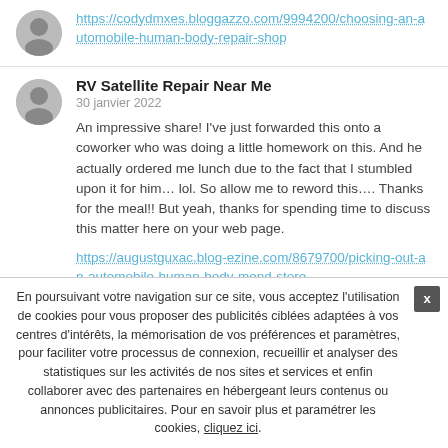https://codydmxes.bloggazzo.com/9994200/choosing-an-automobile-human-body-repair-shop
RV Satellite Repair Near Me
30 janvier 2022
An impressive share! I've just forwarded this onto a coworker who was doing a little homework on this. And he actually ordered me lunch due to the fact that I stumbled upon it for him… lol. So allow me to reword this…. Thanks for the meal!! But yeah, thanks for spending time to discuss this matter here on your web page.
https://augustguxac.blog-ezine.com/8679700/picking-out-an-automobile-human-body-mend-store
Camping Trailer Repair Near Me
En poursuivant votre navigation sur ce site, vous acceptez l'utilisation de cookies pour vous proposer des publicités ciblées adaptées à vos centres d'intérêts, la mémorisation de vos préférences et paramètres, pour faciliter votre processus de connexion, recueillir et analyser des statistiques sur les activités de nos sites et services et enfin collaborer avec des partenaires en hébergeant leurs contenus ou annonces publicitaires. Pour en savoir plus et paramétrer les cookies, cliquez ici.